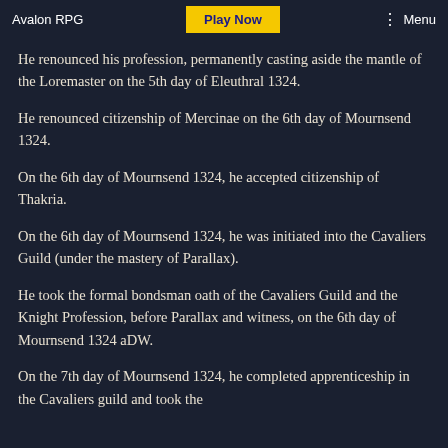Avalon RPG | Play Now | Menu
He renounced his profession, permanently casting aside the mantle of the Loremaster on the 5th day of Eleuthral 1324.
He renounced citizenship of Mercinae on the 6th day of Mournsend 1324.
On the 6th day of Mournsend 1324, he accepted citizenship of Thakria.
On the 6th day of Mournsend 1324, he was initiated into the Cavaliers Guild (under the mastery of Parallax).
He took the formal bondsman oath of the Cavaliers Guild and the Knight Profession, before Parallax and witness, on the 6th day of Mournsend 1324 aDW.
On the 7th day of Mournsend 1324, he completed apprenticeship in the Cavaliers guild and took the